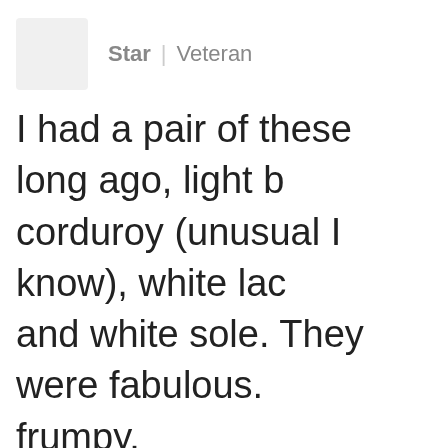Star | Veteran
I had a pair of these long ago, light b... corduroy (unusual I know), white lac... and white sole. They were fabulous. ... frumpy.
© 2 months ago
Runcarla | Veteran